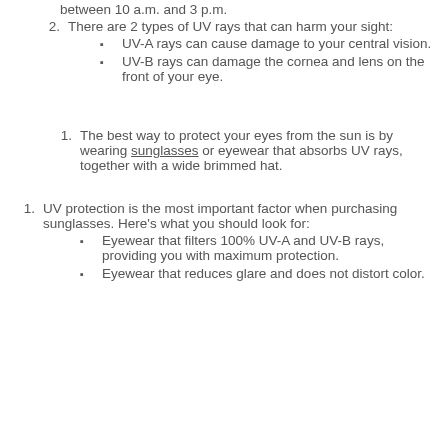between 10 a.m. and 3 p.m.
There are 2 types of UV rays that can harm your sight:
UV-A rays can cause damage to your central vision.
UV-B rays can damage the cornea and lens on the front of your eye.
The best way to protect your eyes from the sun is by wearing sunglasses or eyewear that absorbs UV rays, together with a wide brimmed hat.
UV protection is the most important factor when purchasing sunglasses. Here's what you should look for:
Eyewear that filters 100% UV-A and UV-B rays, providing you with maximum protection.
Eyewear that reduces glare and does not distort color.